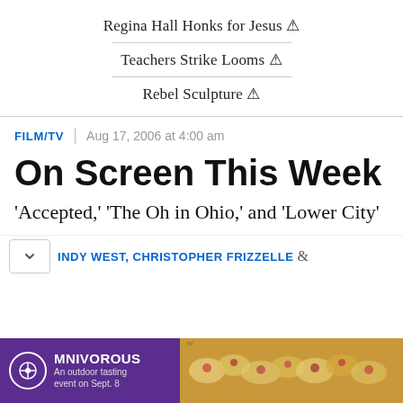Regina Hall Honks for Jesus ⚠
Teachers Strike Looms ⚠
Rebel Sculpture ⚠
FILM/TV | Aug 17, 2006 at 4:00 am
On Screen This Week
'Accepted,' 'The Oh in Ohio,' and 'Lower City'
INDY WEST, CHRISTOPHER FRIZZELLE &
[Figure (photo): Advertisement banner for OMNIVOROUS: An outdoor tasting event on Sept. 8, with purple background on left and food photo on right]